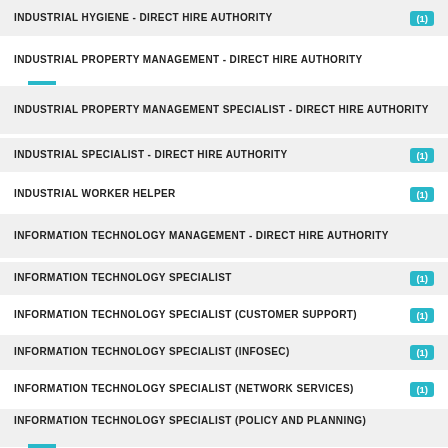INDUSTRIAL HYGIENE - DIRECT HIRE AUTHORITY (1)
INDUSTRIAL PROPERTY MANAGEMENT - DIRECT HIRE AUTHORITY
INDUSTRIAL PROPERTY MANAGEMENT SPECIALIST - DIRECT HIRE AUTHORITY
INDUSTRIAL SPECIALIST - DIRECT HIRE AUTHORITY (1)
INDUSTRIAL WORKER HELPER (1)
INFORMATION TECHNOLOGY MANAGEMENT - DIRECT HIRE AUTHORITY
INFORMATION TECHNOLOGY SPECIALIST (1)
INFORMATION TECHNOLOGY SPECIALIST (CUSTOMER SUPPORT) (1)
INFORMATION TECHNOLOGY SPECIALIST (INFOSEC) (1)
INFORMATION TECHNOLOGY SPECIALIST (NETWORK SERVICES) (1)
INFORMATION TECHNOLOGY SPECIALIST (POLICY AND PLANNING)
INFORMATION TECHNOLOGY SPECIALIST (SYSTEMS ADMINISTRATION)
INSTALLER AND REPAIRER - DIRECT HIRE AUTHORITY (1)